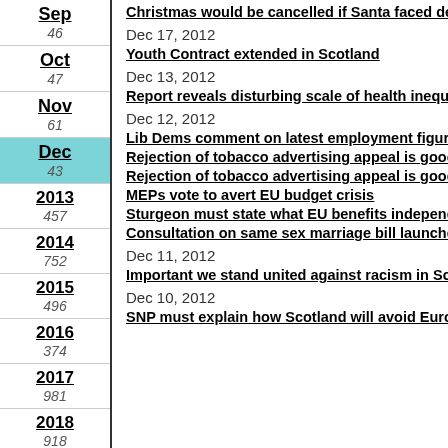Sep 46
Oct 47
Nov 61
Dec 43
2013 457
2014 752
2015 496
2016 374
2017 981
2018 918
2019 1196
Dec 17, 2012
Youth Contract extended in Scotland
Dec 13, 2012
Report reveals disturbing scale of health inequal...
Dec 12, 2012
Lib Dems comment on latest employment figure...
Rejection of tobacco advertising appeal is good...
Rejection of tobacco advertising appeal is good...
MEPs vote to avert EU budget crisis
Sturgeon must state what EU benefits independ...
Consultation on same sex marriage bill launched...
Dec 11, 2012
Important we stand united against racism in Sco...
Dec 10, 2012
SNP must explain how Scotland will avoid Euro in...